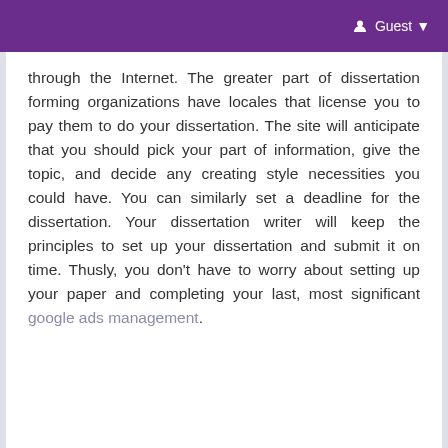Guest
through the Internet. The greater part of dissertation forming organizations have locales that license you to pay them to do your dissertation. The site will anticipate that you should pick your part of information, give the topic, and decide any creating style necessities you could have. You can similarly set a deadline for the dissertation. Your dissertation writer will keep the principles to set up your dissertation and submit it on time. Thusly, you don't have to worry about setting up your paper and completing your last, most significant google ads management.